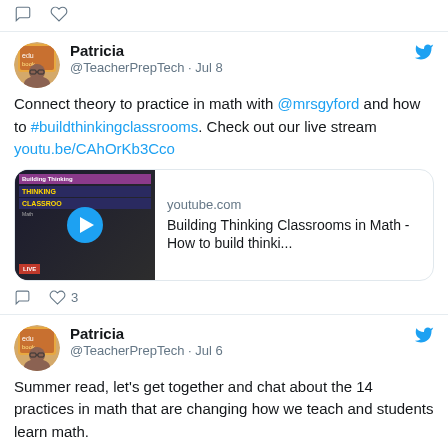[Figure (screenshot): Twitter action icons (comment and like) at top of page]
[Figure (screenshot): Twitter tweet by Patricia @TeacherPrepTech Jul 8 about connecting theory to practice in math with @mrsgyford and #buildthinkingclassrooms with YouTube link preview]
Connect theory to practice in math with @mrsgyford and how to #buildthinkingclassrooms. Check out our live stream youtu.be/CAhOrKb3Cco
[Figure (screenshot): YouTube link preview: youtube.com - Building Thinking Classrooms in Math - How to build thinki...]
[Figure (screenshot): Twitter tweet by Patricia @TeacherPrepTech Jul 6 about summer read on 14 practices in math]
Summer read, let's get together and chat about the 14 practices in math that are changing how we teach and students learn math.